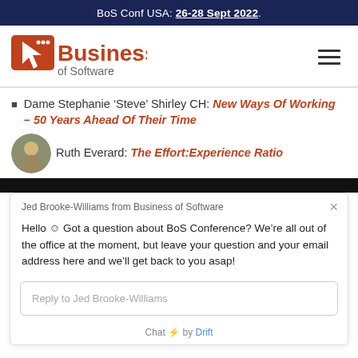BoS Conf USA: 26-28 Sept 2022.
[Figure (logo): Business of Software logo with cursor icon]
Dame Stephanie ‘Steve’ Shirley CH: New Ways Of Working – 50 Years Ahead Of Their Time
Ruth Everard: The Effort:Experience Ratio
Jed Brooke-Williams from Business of Software
Hello ☺ Got a question about BoS Conference? We’re all out of the office at the moment, but leave your question and your email address here and we’ll get back to you asap!
Reply to Jed Brooke-Williams
Chat ⚡ by Drift